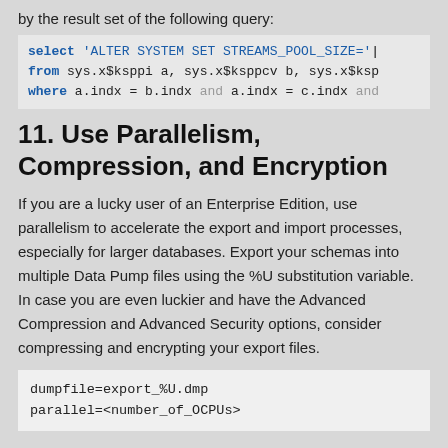by the result set of the following query:
11. Use Parallelism, Compression, and Encryption
If you are a lucky user of an Enterprise Edition, use parallelism to accelerate the export and import processes, especially for larger databases. Export your schemas into multiple Data Pump files using the %U substitution variable. In case you are even luckier and have the Advanced Compression and Advanced Security options, consider compressing and encrypting your export files.